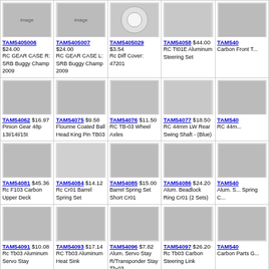| TAM5405006 $24.00 RC GEAR CASE R: SRB Buggy Champ 2009 | TAM5405007 $24.00 RC GEAR CASE L: SRB Buggy Champ 2009 | TAM5405029 $3.54 Rc Diff Cover: 47201 | TAM54058 $44.00 RC Tt01E Aluminum Steering Set | TAM540... Carbon Front T... |
| TAM54062 $16.97 Pinion Gear 48p 13t/14t/15t | TAM54075 $9.58 Flourine Coated Ball Head King Pin TB03 | TAM54076 $11.50 RC TB-03 Wheel Axles | TAM54077 $18.50 RC 44mm LW Rear Swing Shaft - (Blue) | TAM540... RC 44m... |
| TAM54081 $45.36 Rc F103 Carbon Upper Deck | TAM54084 $14.12 Rc Cr01 Barrel Spring Set | TAM54085 $15.00 Barrel Spring Set Short Cr01 | TAM54086 $24.20 Alum. Beadlock Ring Cr01 (2 Sets) | TAM540... Alum. S... Spring C... |
| TAM54091 $10.08 Rc Tb03 Aluminum Servo Stay | TAM54093 $17.14 RC Tb03 Aluminum Heat Sink | TAM54096 $7.82 Alum. Servo Stay R/Transponder Stay Tb-03 | TAM54097 $26.20 Rc Tb03 Carbon Steering Link | TAM540... Carbon Parts G... |
| TAM54100 $6.80 Toyota Land Cruiser | TAM54101 $12.60 | TAM54102 $11.00 | TAM54103 $28.00 CR01 Aluminum | TAM54... |